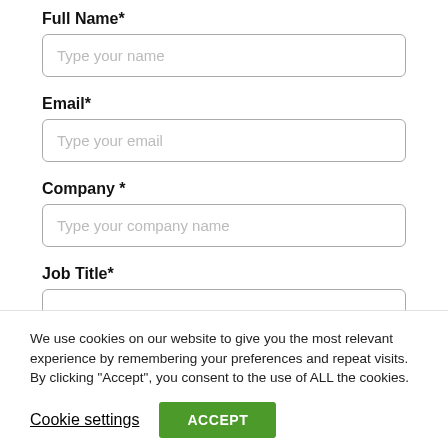Full Name*
Type your name
Email*
Type your email
Company *
Type your company name
Job Title*
We use cookies on our website to give you the most relevant experience by remembering your preferences and repeat visits. By clicking “Accept”, you consent to the use of ALL the cookies.
Cookie settings
ACCEPT